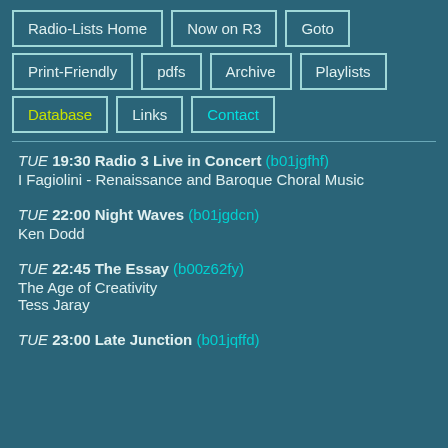Radio-Lists Home
Now on R3
Goto
Print-Friendly
pdfs
Archive
Playlists
Database
Links
Contact
TUE 19:30 Radio 3 Live in Concert (b01jgfhf)
I Fagiolini - Renaissance and Baroque Choral Music
TUE 22:00 Night Waves (b01jgdcn)
Ken Dodd
TUE 22:45 The Essay (b00z62fy)
The Age of Creativity
Tess Jaray
TUE 23:00 Late Junction (b01jqffd)